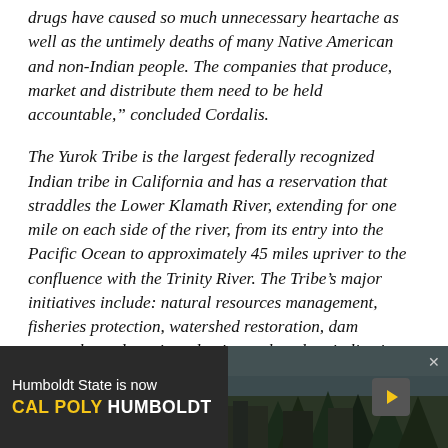drugs have caused so much unnecessary heartache as well as the untimely deaths of many Native American and non-Indian people. The companies that produce, market and distribute them need to be held accountable," concluded Cordalis.
The Yurok Tribe is the largest federally recognized Indian tribe in California and has a reservation that straddles the Lower Klamath River, extending for one mile on each side of the river, from its entry into the Pacific Ocean to approximately 45 miles upriver to the confluence with the Trinity River. The Tribe's major initiatives include: natural resources management, fisheries protection, watershed restoration, dam removal, condor reintroduction, cultural revitalization, language preservation and
[Figure (other): Advertisement banner for Cal Poly Humboldt (formerly Humboldt State), dark background with forest imagery and yellow/white text.]